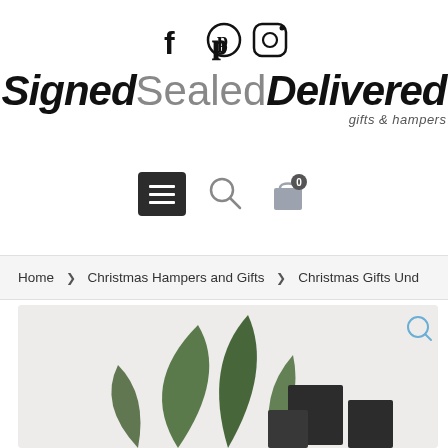[Figure (screenshot): Social media icons: Facebook (f), Pinterest (p), Instagram camera icon]
[Figure (logo): SignedSealedDelivered gifts & hampers logo — bold serif italic wordmark]
[Figure (screenshot): Navigation icons: hamburger menu button (dark square), search icon (magnifying glass), shopping bag icon with badge showing 0]
Home > Christmas Hampers and Gifts > Christmas Gifts Und...
[Figure (photo): Product image showing green plant leaves and dark gift boxes on a light grey background, with a magnify/zoom icon in the top right corner]